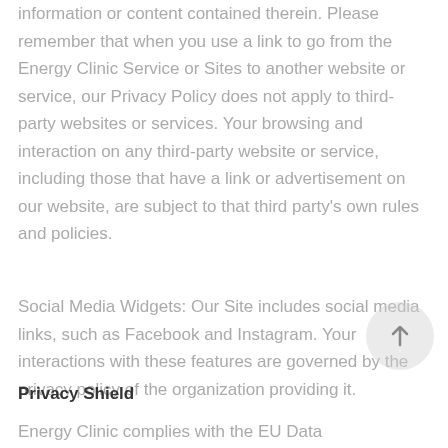information or content contained therein. Please remember that when you use a link to go from the Energy Clinic Service or Sites to another website or service, our Privacy Policy does not apply to third-party websites or services. Your browsing and interaction on any third-party website or service, including those that have a link or advertisement on our website, are subject to that third party's own rules and policies.
Social Media Widgets: Our Site includes social media links, such as Facebook and Instagram. Your interactions with these features are governed by the privacy policy of the organization providing it.
Privacy Shield
Energy Clinic complies with the EU Data